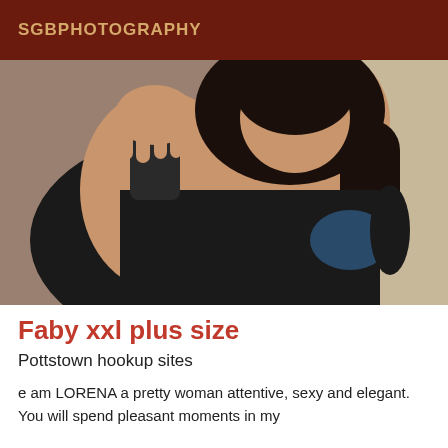SGBPHOTOGRAPHY
[Figure (photo): Woman in black top taking a mirror selfie, showing long dark hair and low-cut outfit]
Faby xxl plus size
Pottstown hookup sites
e am LORENA a pretty woman attentive, sexy and elegant. You will spend pleasant moments in my